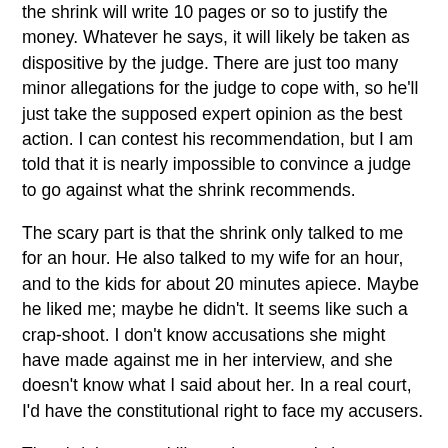the shrink will write 10 pages or so to justify the money. Whatever he says, it will likely be taken as dispositive by the judge. There are just too many minor allegations for the judge to cope with, so he'll just take the supposed expert opinion as the best action. I can contest his recommendation, but I am told that it is nearly impossible to convince a judge to go against what the shrink recommends.
The scary part is that the shrink only talked to me for an hour. He also talked to my wife for an hour, and to the kids for about 20 minutes apiece. Maybe he liked me; maybe he didn't. It seems like such a crap-shoot. I don't know accusations she might have made against me in her interview, and she doesn't know what I said about her. In a real court, I'd have the constitutional right to face my accusers.
The shrink seemed like an honest and sincere fellow, but he has an impossible task. He cannot know what is best for the kids. He should not be judge and jury for domestic violence allegations. He cannot possibly have the proper context to properly interpret a few stray comments from a 5-year-old or